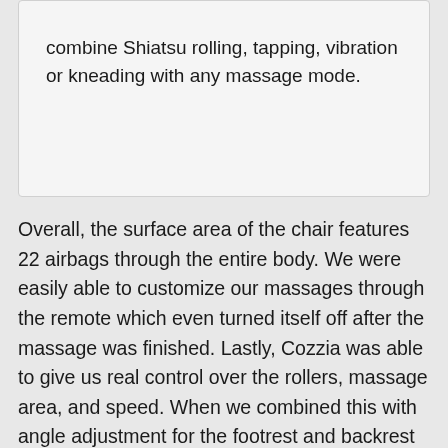combine Shiatsu rolling, tapping, vibration or kneading with any massage mode.
Overall, the surface area of the chair features 22 airbags through the entire body. We were easily able to customize our massages through the remote which even turned itself off after the massage was finished. Lastly, Cozzia was able to give us real control over the rollers, massage area, and speed. When we combined this with angle adjustment for the footrest and backrest we experienced a soothing sensation.